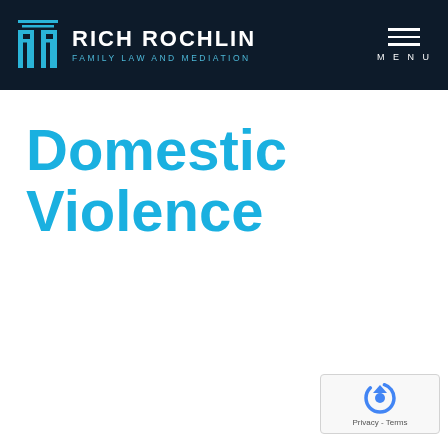[Figure (logo): Rich Rochlin Family Law and Mediation logo with RR icon on dark navy background, with hamburger menu icon labeled MENU on the right]
Domestic Violence
[Figure (other): reCAPTCHA badge with spinning arrow icon and Privacy - Terms text]